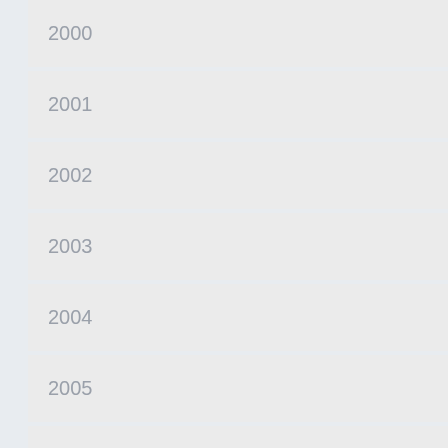| Year | Change | Value1 | Value2 |
| --- | --- | --- | --- |
| 2000 |  |  | 14… |
| 2001 |  |  | 14… |
| 2002 |  |  | 11… |
| 2003 |  |  | 10… |
| 2004 |  |  | 74… |
| 2005 |  |  | 86… |
| 2006 | +137 |  | 93… |
| 2007 | +155 |  | 10… |
| 2008 | +10 |  | 76… |
| 2009 | −194 | 3500 | 46… |